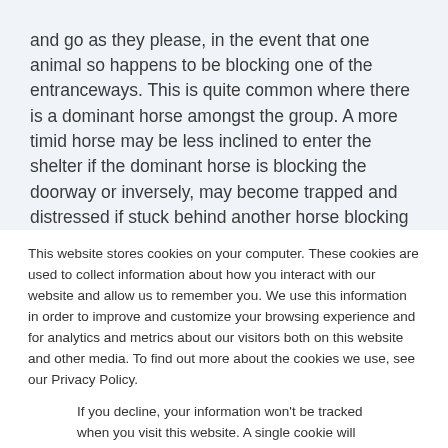and go as they please, in the event that one animal so happens to be blocking one of the entranceways. This is quite common where there is a dominant horse amongst the group. A more timid horse may be less inclined to enter the shelter if the dominant horse is blocking the doorway or inversely, may become trapped and distressed if stuck behind another horse blocking the exit and is unable to leave the shelter
This website stores cookies on your computer. These cookies are used to collect information about how you interact with our website and allow us to remember you. We use this information in order to improve and customize your browsing experience and for analytics and metrics about our visitors both on this website and other media. To find out more about the cookies we use, see our Privacy Policy.
If you decline, your information won't be tracked when you visit this website. A single cookie will be used in your browser to remember your preference not to be tracked.